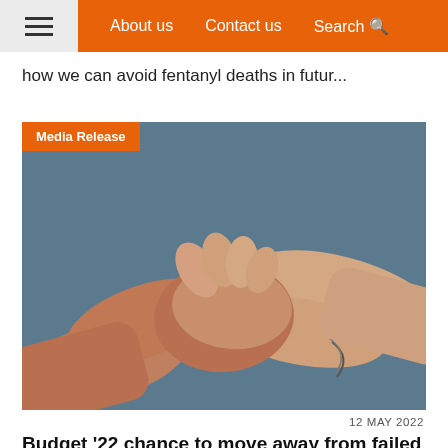≡  About us   Contact us   Search 🔍
how we can avoid fentanyl deaths in futur...
[Figure (photo): Two people shaking hands / clasping hands together against a blue-grey background, with a 'Media Release' orange badge overlay in the top-left corner.]
12 MAY 2022
Budget '22 chance to move away from failed